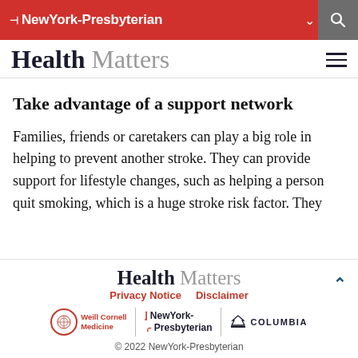NewYork-Presbyterian
Health Matters
Take advantage of a support network
Families, friends or caretakers can play a big role in helping to prevent another stroke. They can provide support for lifestyle changes, such as helping a person quit smoking, which is a huge stroke risk factor. They
Health Matters
Privacy Notice    Disclaimer
© 2022 NewYork-Presbyterian